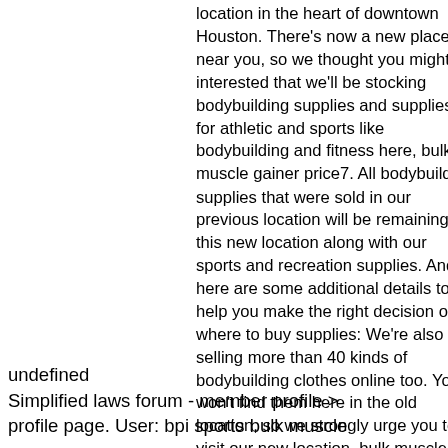location in the heart of downtown Houston. There's now a new place near you, so we thought you might be interested that we'll be stocking bodybuilding supplies and supplies for athletic and sports like bodybuilding and fitness here, bulk muscle gainer price7. All bodybuilding supplies that were sold in our previous location will be remaining in this new location along with our sports and recreation supplies. And, here are some additional details to help you make the right decision on where to buy supplies: We're also selling more than 40 kinds of bodybuilding clothes online too. You won't find them here in the old location, so we strongly urge you to visit our new location, bulk muscle gainer price8.
undefined
Simplified laws forum - member profile > profile page. User: bpi sports bulk muscle